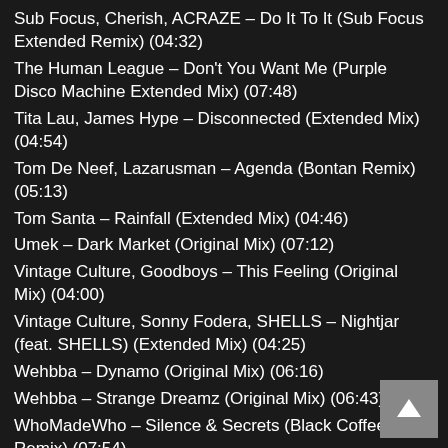Sub Focus, Cherish, ACRAZE – Do It To It (Sub Focus Extended Remix) (04:32)
The Human League – Don't You Want Me (Purple Disco Machine Extended Mix) (07:48)
Tita Lau, James Hype – Disconnected (Extended Mix) (04:54)
Tom De Neef, Lazarusman – Agenda (Bontan Remix) (05:13)
Tom Santa – Rainfall (Extended Mix) (04:46)
Umek – Dark Market (Original Mix) (07:12)
Vintage Culture, Goodboys – This Feeling (Original Mix) (04:00)
Vintage Culture, Sonny Fodera, SHELLS – Nightjar (feat. SHELLS) (Extended Mix) (04:25)
Wehbba – Dynamo (Original Mix) (06:16)
Wehbba – Strange Dreamz (Original Mix) (06:43)
WhoMadeWho – Silence & Secrets (Black Coffee Remix) (07:54)
Öwnboss, Sevek – Move Your Body (Extended Mix) (03:…
Øostil, Juan Hansen – Drown (Massano Remix) (07:21)